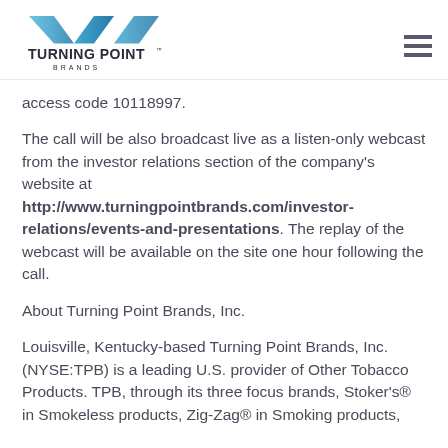Turning Point Brands logo and navigation
access code 10118997.
The call will be also broadcast live as a listen-only webcast from the investor relations section of the company's website at http://www.turningpointbrands.com/investor-relations/events-and-presentations. The replay of the webcast will be available on the site one hour following the call.
About Turning Point Brands, Inc.
Louisville, Kentucky-based Turning Point Brands, Inc. (NYSE:TPB) is a leading U.S. provider of Other Tobacco Products. TPB, through its three focus brands, Stoker's® in Smokeless products, Zig-Zag® in Smoking products,